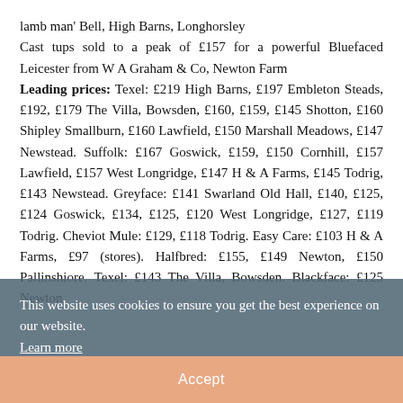lamb man' Bell, High Barns, Longhorsley
Cast tups sold to a peak of £157 for a powerful Bluefaced Leicester from W A Graham & Co, Newton Farm
Leading prices: Texel: £219 High Barns, £197 Embleton Steads, £192, £179 The Villa, Bowsden, £160, £159, £145 Shotton, £160 Shipley Smallburn, £160 Lawfield, £150 Marshall Meadows, £147 Newstead. Suffolk: £167 Goswick, £159, £150 Cornhill, £157 Lawfield, £157 West Longridge, £147 H & A Farms, £145 Todrig, £143 Newstead. Greyface: £141 Swarland Old Hall, £140, £125, £124 Goswick, £134, £125, £120 West Longridge, £127, £119 Todrig. Cheviot Mule: £129, £118 Todrig. Easy Care: £103 H & A Farms, £97 (stores). Halfbred: £155, £149 Newton, £150 Pallinshiore. Texel: £143 The Villa, Bowsden. Blackface: £125 Newton
This website uses cookies to ensure you get the best experience on our website. Learn more